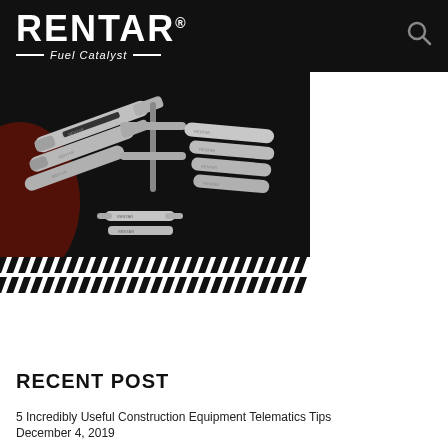RENTAR® Fuel Catalyst
[Figure (photo): Product photo of Rentar Fuel Catalyst devices — metallic cylindrical components with tubing, arranged on a dark background with a maroon/brown section visible on the left.]
[Figure (infographic): Diagonal black-and-white striped bar above a brown Download Now button, repeated below the button — decorative call-to-action section with DOWNLOAD NOW text in yellow on brown rounded rectangle button.]
RECENT POST
5 Incredibly Useful Construction Equipment Telematics Tips
December 4, 2019